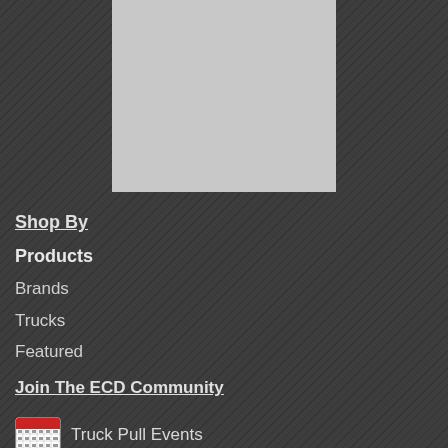[Figure (other): Gray placeholder image rectangle in upper center of page]
Shop By
Products
Brands
Trucks
Featured
Join The ECD Community
Truck Pull Events